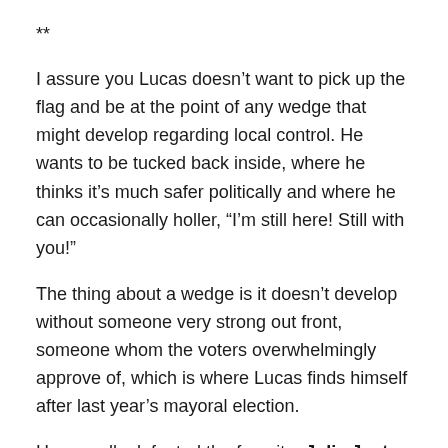**
I assure you Lucas doesn’t want to pick up the flag and be at the point of any wedge that might develop regarding local control. He wants to be tucked back inside, where he thinks it’s much safer politically and where he can occasionally holler, “I’m still here! Still with you!”
The thing about a wedge is it doesn’t develop without someone very strong out front, someone whom the voters overwhelmingly approve of, which is where Lucas finds himself after last year’s mayoral election.
He soundly defeated the favorite, Jolie Justus (maybe he’s still surprised about that), and he has just barely sipped from the deep trough of goodwill that almost every elected official starts out with.